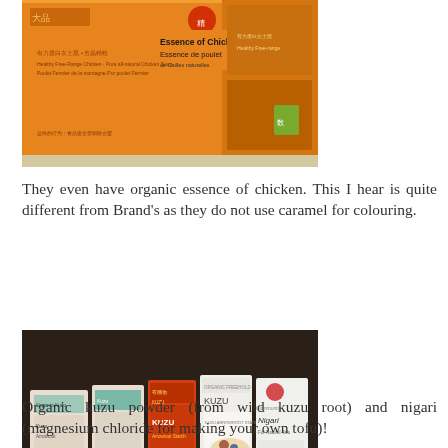[Figure (photo): Boxes of organic essence of chicken product with Chinese and English text, orange packaging, on a shelf.]
They even have organic essence of chicken. This I hear is quite different from Brand's as they do not use caramel for colouring.
[Figure (photo): Shelf display of various organic kuzu powder and nigari (magnesium chloride) products in packages at a store.]
Organic kuzu powder (from wild kuzu root) and nigari (magnesium chloride for making your own tofu)!